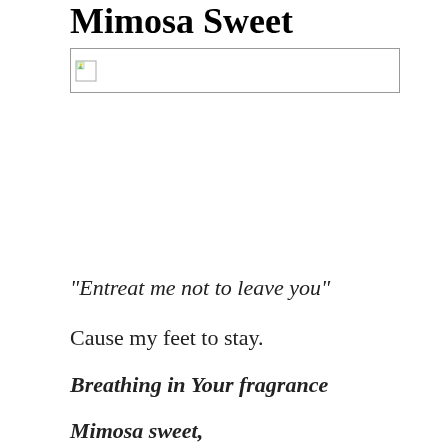Mimosa Sweet
[Figure (photo): Broken/missing image placeholder with a small landscape icon in the top-left corner, displayed as a wide horizontal rectangle with a border]
“Entreat me not to leave you”
Cause my feet to stay.
Breathing in Your fragrance
Mimosa sweet,